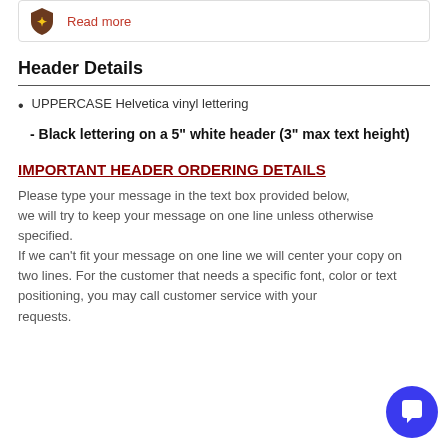[Figure (other): Top card with shield icon and 'Read more' link]
Header Details
UPPERCASE Helvetica vinyl lettering
- Black lettering on a 5" white header (3" max text height)
IMPORTANT HEADER ORDERING DETAILS
Please type your message in the text box provided below, we will try to keep your message on one line unless otherwise specified. If we can't fit your message on one line we will center your copy on two lines. For the customer that needs a specific font, color or text positioning, you may call customer service with your requests.